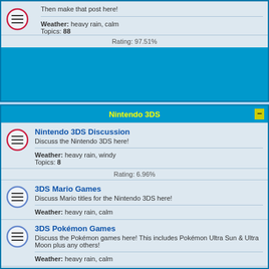Then make that post here!
Weather: heavy rain, calm
Topics: 88
Rating: 97.51%
Nintendo 3DS
Nintendo 3DS Discussion
Discuss the Nintendo 3DS here!
Weather: heavy rain, windy
Topics: 8
Rating: 6.96%
3DS Mario Games
Discuss Mario titles for the Nintendo 3DS here!
Weather: heavy rain, calm
3DS Pokémon Games
Discuss the Pokémon games here! This includes Pokémon Ultra Sun & Ultra Moon plus any others!
Weather: heavy rain, calm
Other 3DS Games
Discuss other games for the 3DS here, plus Nintendo E-Shop software!
Weather: heavy rain, storm
Topics: 7
Rating: 2.11%